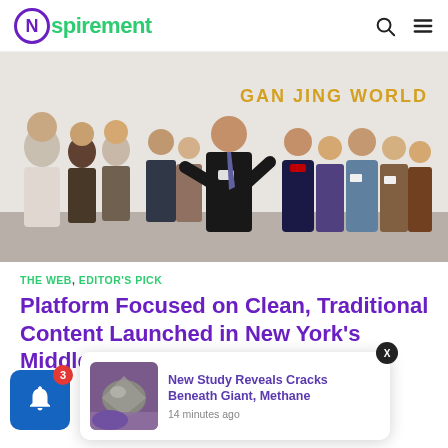Nspirement
[Figure (photo): Group of people standing in a room with 'GAN JING WORLD' text on the wall. A man in a dark suit is speaking/presenting to the group.]
THE WEB, EDITOR'S PICK
Platform Focused on Clean, Traditional Content Launched in New York's Middletown
MMA LU
[Figure (photo): Small thumbnail image of a rock/mineral specimen on purple background for popup notification]
New Study Reveals Cracks Beneath Giant, Methane
14 minutes ago